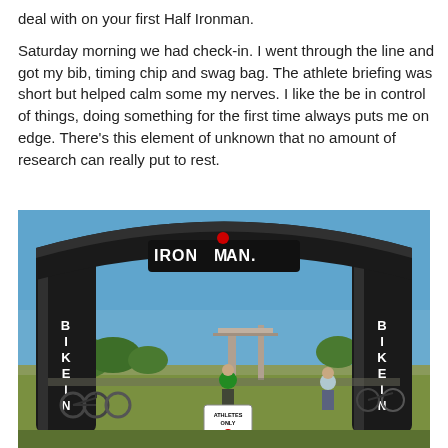deal with on your first Half Ironman.
Saturday morning we had check-in. I went through the line and got my bib, timing chip and swag bag. The athlete briefing was short but helped calm some my nerves. I like the be in control of things, doing something for the first time always puts me on edge. There's this element of unknown that no amount of research can really put to rest.
[Figure (photo): Ironman triathlon Bike In arch — a large black inflatable arch with 'IRONMAN' branding in white and red at the top, 'BIKE IN' written vertically on each pillar. Below the arch is a transition area with many bicycles, athletes, and an 'Athletes Only' sign with the Ironman logo. Blue sky and trees visible in the background.]